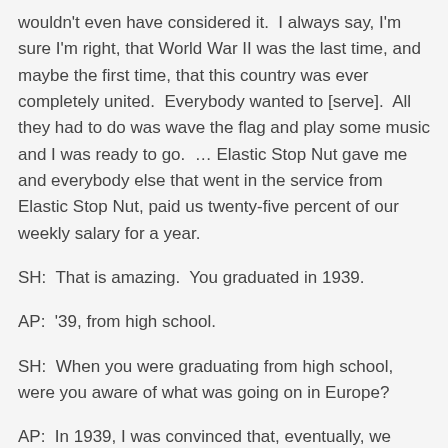wouldn't even have considered it.  I always say, I'm sure I'm right, that World War II was the last time, and maybe the first time, that this country was ever completely united.  Everybody wanted to [serve].  All they had to do was wave the flag and play some music and I was ready to go.  … Elastic Stop Nut gave me and everybody else that went in the service from Elastic Stop Nut, paid us twenty-five percent of our weekly salary for a year.
SH:  That is amazing.  You graduated in 1939.
AP:  '39, from high school.
SH:  When you were graduating from high school, were you aware of what was going on in Europe?
AP:  In 1939, I was convinced that, eventually, we were going to get involved in that war and, … from the time I was about seven or eight years old, and we're going back now, my father took my brother and I out to a farmer's field in Kenilworth, New Jersey, where World War I flyers were barnstorming and giving acrobatic demonstrations and I